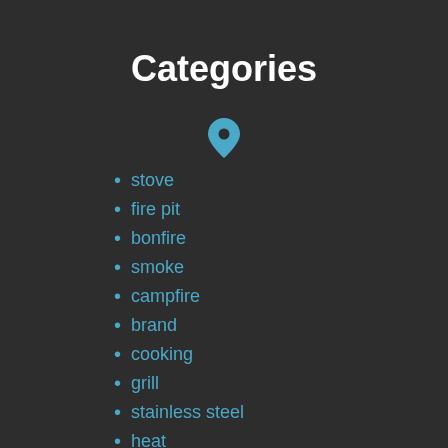Categories
stove
fire pit
bonfire
smoke
campfire
brand
cooking
grill
stainless steel
heat
rust